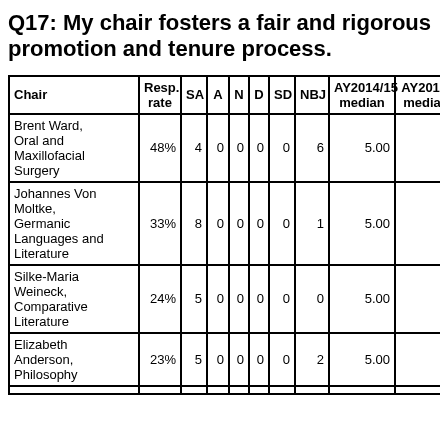Q17: My chair fosters a fair and rigorous promotion and tenure process.
| Chair | Resp. rate | SA | A | N | D | SD | NBJ | AY2014/15 median | AY2013/... median |
| --- | --- | --- | --- | --- | --- | --- | --- | --- | --- |
| Brent Ward, Oral and Maxillofacial Surgery | 48% | 4 | 0 | 0 | 0 | 0 | 6 | 5.00 |  |
| Johannes Von Moltke, Germanic Languages and Literature | 33% | 8 | 0 | 0 | 0 | 0 | 1 | 5.00 |  |
| Silke-Maria Weineck, Comparative Literature | 24% | 5 | 0 | 0 | 0 | 0 | 0 | 5.00 | 5. |
| Elizabeth Anderson, Philosophy | 23% | 5 | 0 | 0 | 0 | 0 | 2 | 5.00 |  |